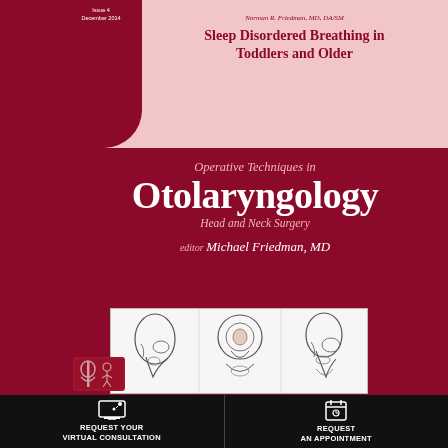Norman R. Friedman, MD, DA/SM
Sleep Disordered Breathing in Toddlers and Older
Operative Techniques in Otolaryngology Head and Neck Surgery
editor Michael Friedman, MD
[Figure (illustration): Three medical illustrations showing surgical anatomy of the throat/pharynx region for otolaryngology procedures]
[Figure (logo): Elsevier publisher logo]
REQUEST YOUR VIRTUAL CONSULTATION
REQUEST AN APPOINTMENT